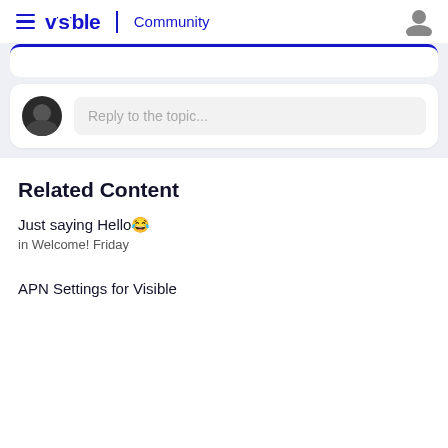visible | Community
[Figure (screenshot): Reply to the topic input box with user avatar icon]
Related Content
Just saying Hello😊 in Welcome! Friday
APN Settings for Visible